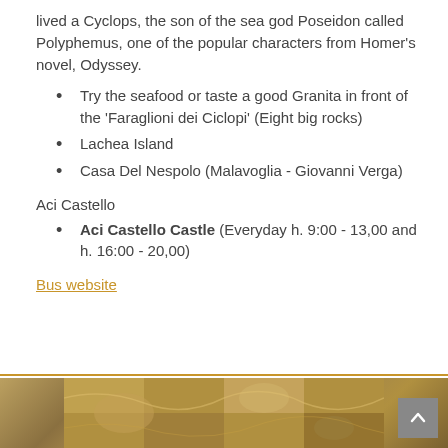lived a Cyclops, the son of the sea god Poseidon called Polyphemus, one of the popular characters from Homer's novel, Odyssey.
Try the seafood or taste a good Granita in front of the 'Faraglioni dei Ciclopi' (Eight big rocks)
Lachea Island
Casa Del Nespolo (Malavoglia - Giovanni Verga)
Aci Castello
Aci Castello Castle (Everyday h. 9:00 - 13,00 and h. 16:00 - 20,00)
Bus website
[Figure (photo): Decorative mosaic or tapestry image at the bottom of the page]